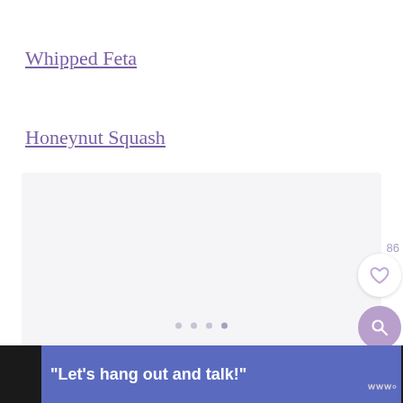Whipped Feta
Honeynut Squash
[Figure (screenshot): Light gray image area with three small dots indicating a loading/carousel state, a like count of 86, a white circular heart/like button, and a purple circular search button on the right side.]
“Let’s hang out and talk!”